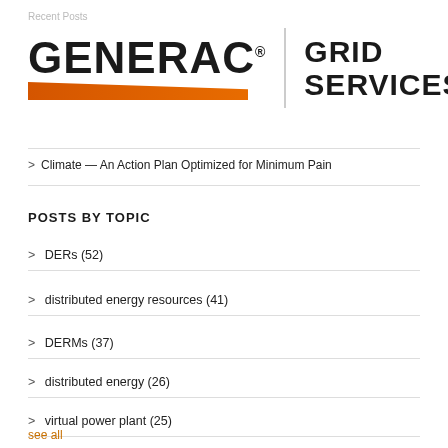Recent Posts
[Figure (logo): Generac Grid Services logo with orange triangular swoosh bar and vertical divider]
> Climate — An Action Plan Optimized for Minimum Pain
POSTS BY TOPIC
> DERs (52)
> distributed energy resources (41)
> DERMs (37)
> distributed energy (26)
> virtual power plant (25)
see all